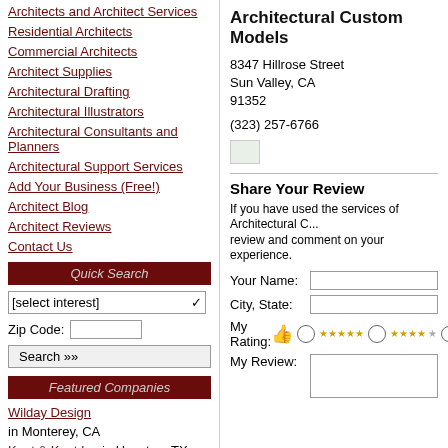Architects and Architect Services
Residential Architects
Commercial Architects
Architect Supplies
Architectural Drafting
Architectural Illustrators
Architectural Consultants and Planners
Architectural Support Services
Add Your Business (Free!)
Architect Blog
Architect Reviews
Contact Us
Quick Search
Featured Companies
Wilday Design in Monterey, CA
Kent & Kent Inc in Houston, TX
Architectural Custom Models
8347 Hillrose Street
Sun Valley, CA
91352
(323) 257-6766
Share Your Review
If you have used the services of Architectural C... review and comment on your experience.